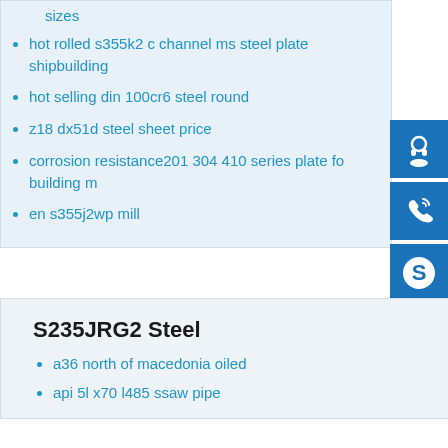sizes
hot rolled s355k2 c channel ms steel plate shipbuilding
hot selling din 100cr6 steel round
z18 dx51d steel sheet price
corrosion resistance201 304 410 series plate fo building m
en s355j2wp mill
[Figure (illustration): Three blue square icon buttons: customer support headset icon, phone/call icon, and Skype icon]
S235JRG2 Steel
a36 north of macedonia oiled
api 5l x70 l485 ssaw pipe